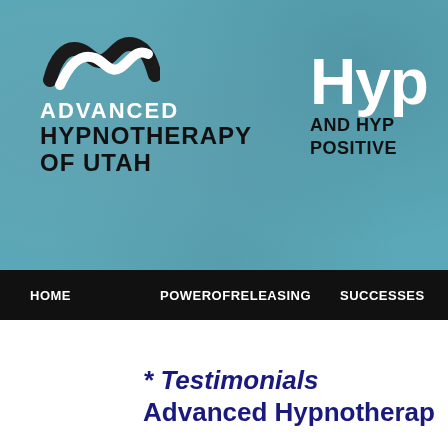[Figure (logo): Advanced Hypnotherapy of Utah logo with stylized wave symbol on teal/blue textured background, alongside partial 'Hyp' text and 'AND HYP POSITIVE' text]
HOME   POWEROFRELEASING   SUCCESSES
* Testimonials Advanced Hypnotherap